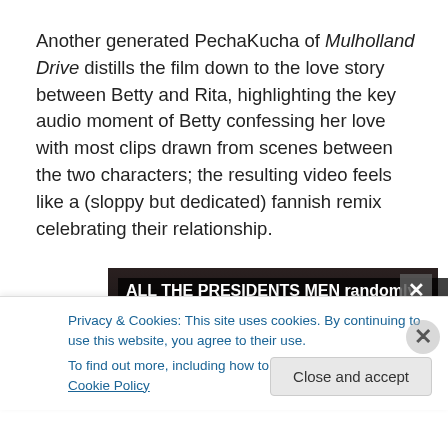Another generated PechaKucha of Mulholland Drive distills the film down to the love story between Betty and Rita, highlighting the key audio moment of Betty confessing her love with most clips drawn from scenes between the two characters; the resulting video feels like a (sloppy but dedicated) fannish remix celebrating their relationship.
[Figure (screenshot): Screenshot of a video titled 'ALL THE PRESIDENTS MEN randomly' with dark/black background]
Privacy & Cookies: This site uses cookies. By continuing to use this website, you agree to their use.
To find out more, including how to control cookies, see here: Cookie Policy
Close and accept